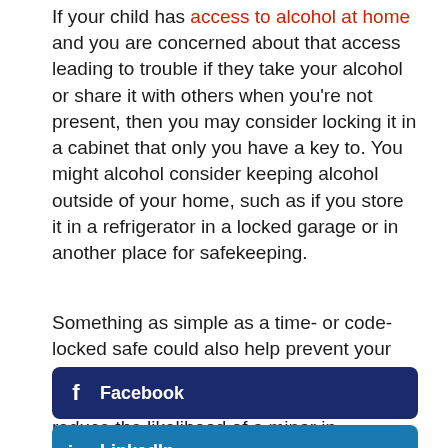If your child has access to alcohol at home and you are concerned about that access leading to trouble if they take your alcohol or share it with others when you're not present, then you may consider locking it in a cabinet that only you have a key to. You might alcohol consider keeping alcohol outside of your home, such as if you store it in a refrigerator in a locked garage or in another place for safekeeping.
Something as simple as a time- or code-locked safe could also help prevent your child from stealing alcohol that is in your home, which can limit their access and reduce the likelihood of a minor in possession charge.
[Figure (other): Facebook social share button — dark navy blue rounded rectangle with Facebook 'f' icon and label 'Facebook']
[Figure (other): LinkedIn social share button — medium blue rounded rectangle with LinkedIn 'in' icon and label 'LinkedIn']